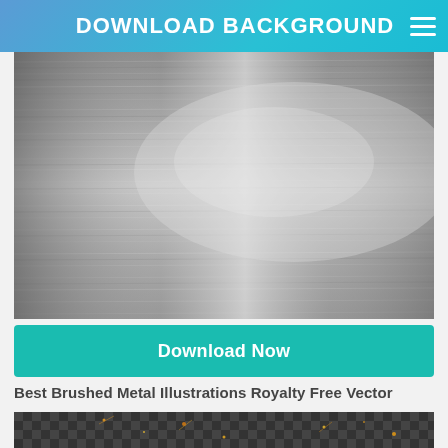DOWNLOAD BACKGROUND
[Figure (photo): Brushed metal texture background — silvery gray with horizontal brush strokes and specular highlights]
Download Now
Best Brushed Metal Illustrations Royalty Free Vector
[Figure (photo): Dark checkered transparent background with sparks or debris particles]